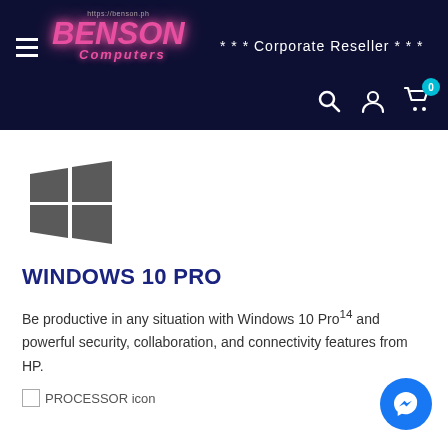https://benson.ph BENSON Computers *** Corporate Reseller ***
[Figure (logo): Windows logo - four squares in grey, forming a window shape with perspective]
WINDOWS 10 PRO
Be productive in any situation with Windows 10 Pro¹⁴ and powerful security, collaboration, and connectivity features from HP.
PROCESSOR icon